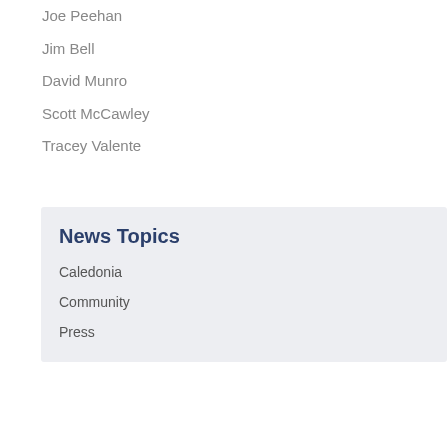Joe Peehan
Jim Bell
David Munro
Scott McCawley
Tracey Valente
News Topics
Caledonia
Community
Press